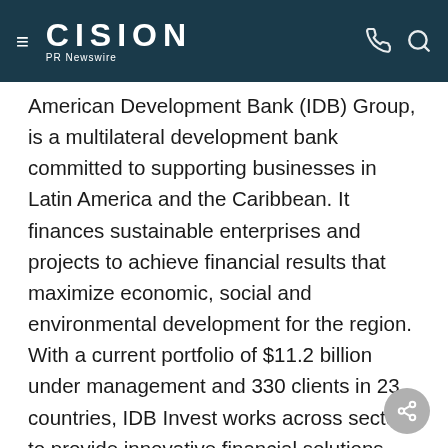CISION PR Newswire
American Development Bank (IDB) Group, is a multilateral development bank committed to supporting businesses in Latin America and the Caribbean. It finances sustainable enterprises and projects to achieve financial results that maximize economic, social and environmental development for the region. With a current portfolio of $11.2 billion under management and 330 clients in 23 countries, IDB Invest works across sectors to provide innovative financial solutions and advisory services that meet the evolving demands of its clients. As of November 2017, IDB Invest is the trade name of the Inter-American Investment Corporation.